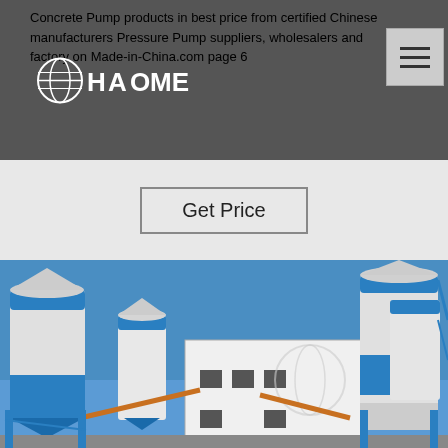Concrete Pump products in best price from certified Chinese manufacturers Pressure Pump suppliers, wholesalers and factory on Made-in-China.com page 6
[Figure (logo): HAOMEI logo - white text with globe icon on dark background]
Get Price
[Figure (photo): Industrial concrete batching plant with blue and white silos against a blue sky. Large cylindrical storage tanks and a central building with HAOMEI watermark logo visible.]